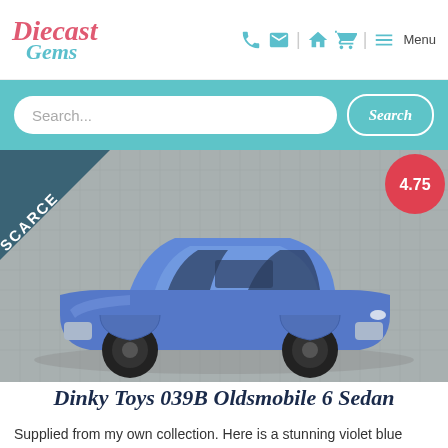[Figure (logo): Diecast Gems logo with cursive red 'Diecast' and teal 'Gems' text]
Navigation icons: phone, email, home, cart, menu
Search...
[Figure (photo): Blue Dinky Toys 039B Oldsmobile 6 Sedan diecast model car with black ridged wheels, photographed from above on grey fabric. 'SCARCE' badge in top-left corner triangle. Rating badge '4.75' in red circle top-right.]
Dinky Toys 039B Oldsmobile 6 Sedan
Supplied from my own collection. Here is a stunning violet blue Oldsmobile with black ridged wheels and